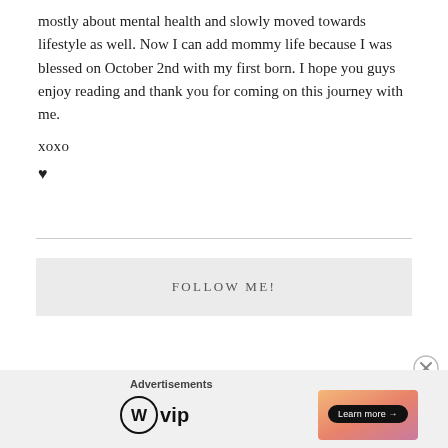mostly about mental health and slowly moved towards lifestyle as well. Now I can add mommy life because I was blessed on October 2nd with my first born. I hope you guys enjoy reading and thank you for coming on this journey with me.
xoxo
♥
FOLLOW ME!
Advertisements
[Figure (logo): WordPress VIP logo with circle W icon and 'vip' text]
[Figure (illustration): Ad banner with gradient peach/orange background and 'Learn more →' button]